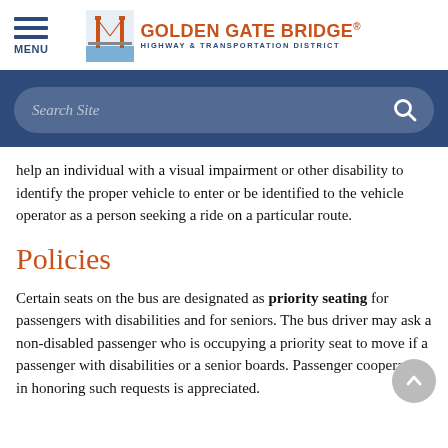MENU | GOLDEN GATE BRIDGE® HIGHWAY & TRANSPORTATION DISTRICT
[Figure (screenshot): Search site input bar with magnifying glass icon on dark blue background]
help an individual with a visual impairment or other disability to identify the proper vehicle to enter or be identified to the vehicle operator as a person seeking a ride on a particular route.
Policies
Certain seats on the bus are designated as priority seating for passengers with disabilities and for seniors. The bus driver may ask a non-disabled passenger who is occupying a priority seat to move if a passenger with disabilities or a senior boards. Passenger cooperation in honoring such requests is appreciated.